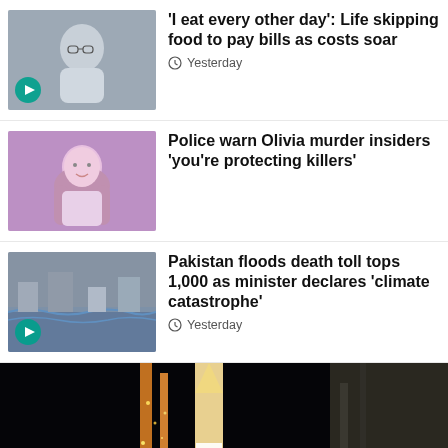[Figure (photo): Man with glasses, video thumbnail with play button]
'I eat every other day': Life skipping food to pay bills as costs soar
Yesterday
[Figure (photo): Young girl with long hair, pink/purple tones]
Police warn Olivia murder insiders 'you're protecting killers'
[Figure (photo): Flood scene, aerial view, video thumbnail with play button]
Pakistan floods death toll tops 1,000 as minister declares 'climate catastrophe'
Yesterday
[Figure (photo): NASA rocket on launch pad at night, illuminated]